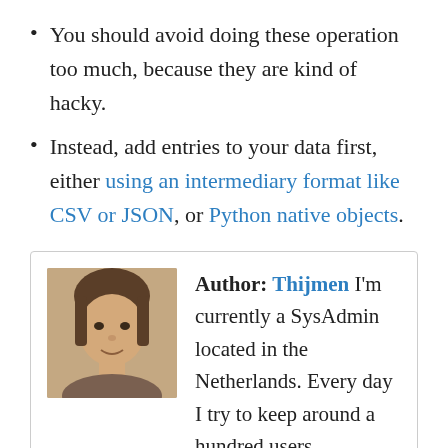You should avoid doing these operation too much, because they are kind of hacky.
Instead, add entries to your data first, either using an intermediary format like CSV or JSON, or Python native objects.
Author: Thijmen I'm currently a SysAdmin located in the Netherlands. Every day I try to keep around a hundred users happy with their network connections and overall, tech-related issues. I also spend my